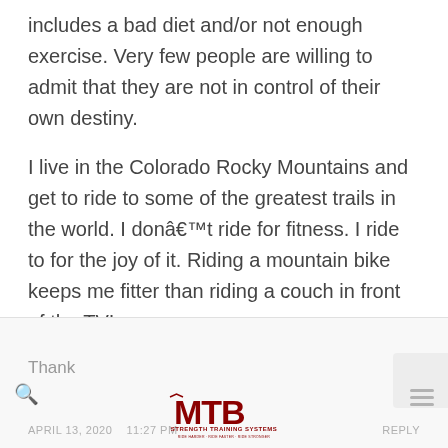includes a bad diet and/or not enough exercise. Very few people are willing to admit that they are not in control of their own destiny.
I live in the Colorado Rocky Mountains and get to ride to some of the greatest trails in the world. I donâ€™t ride for fitness. I ride to for the joy of it. Riding a mountain bike keeps me fitter than riding a couch in front of the TV!
Thank | MTB STRENGTH TRAINING SYSTEMS | RIDE HARDER · RIDE FASTER · RIDE STRONGER | APRIL 13, 2020 | REPLY
[Figure (logo): MTB Strength Training Systems logo with red MTB letters and tagline RIDE HARDER · RIDE FASTER · RIDE STRONGER]